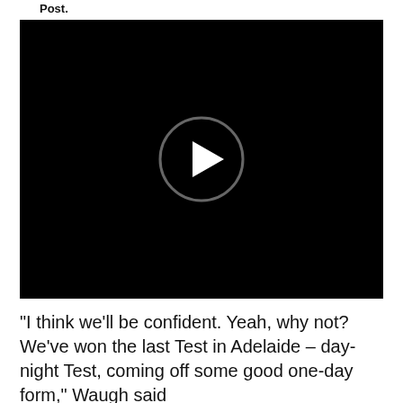Post.
[Figure (screenshot): Black video player with a circular play button in the center, dark background with a grey circle outline and white triangle play icon]
"I think we'll be confident. Yeah, why not? We've won the last Test in Adelaide – day-night Test, coming off some good one-day form," Waugh said